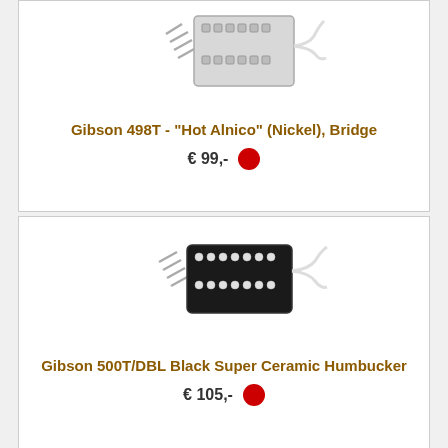[Figure (photo): Gibson 498T Hot Alnico Nickel Bridge pickup product photo]
Gibson 498T - "Hot Alnico" (Nickel), Bridge
€ 99,-
[Figure (photo): Gibson 500T/DBL Black Super Ceramic Humbucker pickup product photo]
Gibson 500T/DBL Black Super Ceramic Humbucker
€ 105,-